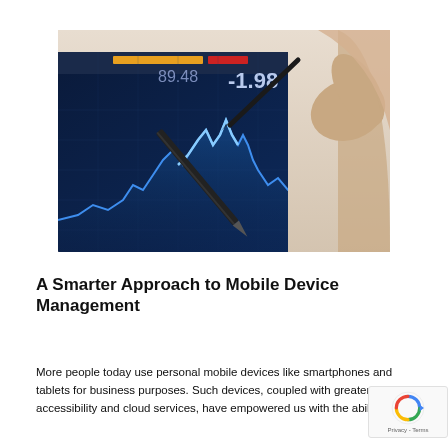[Figure (photo): A person holding a stylus/pen pointing at a financial stock market chart displayed on a screen, showing a line chart with blue price movements on a dark background, with numbers -1.98 visible and colored bar indicators at the top.]
A Smarter Approach to Mobile Device Management
More people today use personal mobile devices like smartphones and tablets for business purposes. Such devices, coupled with greater Wi-Fi accessibility and cloud services, have empowered us with the ability